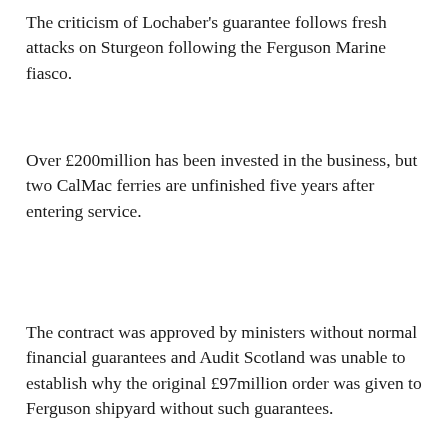The criticism of Lochaber's guarantee follows fresh attacks on Sturgeon following the Ferguson Marine fiasco.
Over £200million has been invested in the business, but two CalMac ferries are unfinished five years after entering service.
The contract was approved by ministers without normal financial guarantees and Audit Scotland was unable to establish why the original £97million order was given to Ferguson shipyard without such guarantees.
At the time, the yard was owned by billionaire businessman Jim McColl.
A Scottish Government spokesperson said: 'There has been no call on the Scottish Government Guarantee, no debt is owed to the Scottish Government under the Lochaber Guarantee, all guarantee charges are up to date and we hold a full suite of titles when it comes to the Lochaber Guarantee.